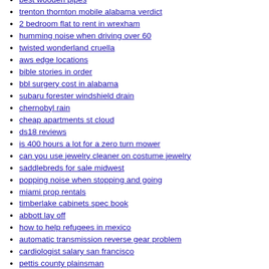best wooden pipes
trenton thornton mobile alabama verdict
2 bedroom flat to rent in wrexham
humming noise when driving over 60
twisted wonderland cruella
aws edge locations
bible stories in order
bbl surgery cost in alabama
subaru forester windshield drain
chernobyl rain
cheap apartments st cloud
ds18 reviews
is 400 hours a lot for a zero turn mower
can you use jewelry cleaner on costume jewelry
saddlebreds for sale midwest
popping noise when stopping and going
miami prop rentals
timberlake cabinets spec book
abbott lay off
how to help refugees in mexico
automatic transmission reverse gear problem
cardiologist salary san francisco
pettis county plainsman
consumer electronics retailers uk
sculptor for hire
fireplace cleaning lookup